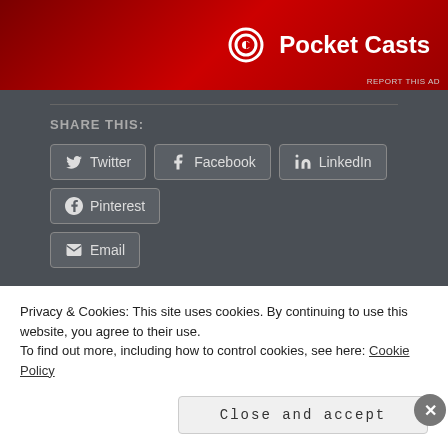[Figure (advertisement): Pocket Casts podcast app advertisement banner with red gradient background showing Pocket Casts logo and name in white]
REPORT THIS AD
SHARE THIS:
Twitter
Facebook
LinkedIn
Pinterest
Email
RELATED
Privacy & Cookies: This site uses cookies. By continuing to use this website, you agree to their use.
To find out more, including how to control cookies, see here: Cookie Policy
Close and accept